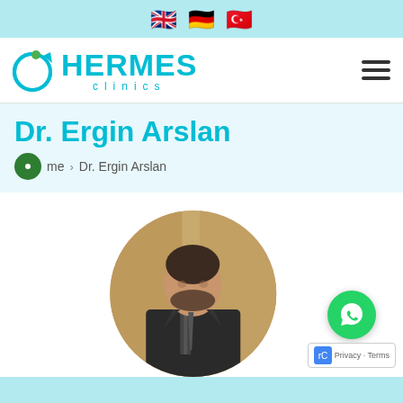Language flags: English, German, Turkish
[Figure (logo): Hermes Clinics logo with teal circular icon and HERMES text in teal, clinics in smaller teal letters below]
Dr. Ergin Arslan
Home > Dr. Ergin Arslan
[Figure (photo): Circular portrait photo of Dr. Ergin Arslan, a middle-aged man in a dark suit with a tie, standing in front of a curtained background]
[Figure (other): WhatsApp contact button (green circle with phone icon) and Google reCAPTCHA Privacy/Terms badge]